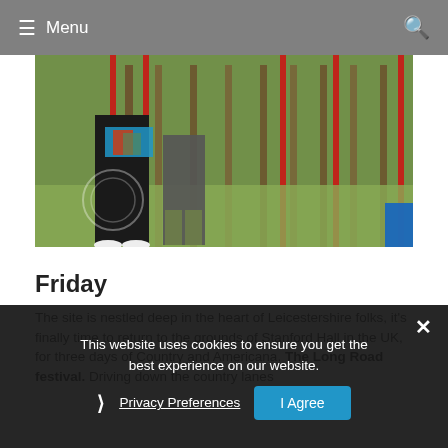Menu
[Figure (photo): People standing near red poles and a wooden fence at an outdoor festival, with grass and trees in the background.]
Friday
The site is nestled deep in the heart of Leicestershire folks, it's finally time to return to the grounds of Stanford Hall in the UK, for three days of Country and Americana. The Long Road festival. Driving down the country lanes
This website uses cookies to ensure you get the best experience on our website.
Privacy Preferences
I Agree